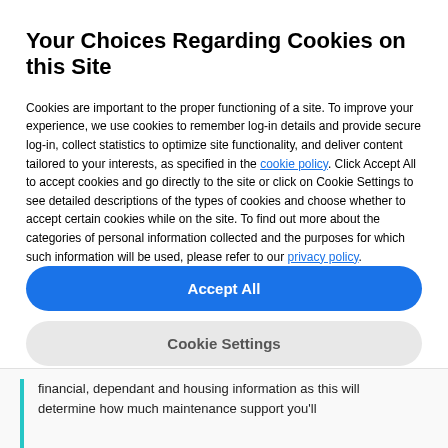Your Choices Regarding Cookies on this Site
Cookies are important to the proper functioning of a site. To improve your experience, we use cookies to remember log-in details and provide secure log-in, collect statistics to optimize site functionality, and deliver content tailored to your interests, as specified in the cookie policy. Click Accept All to accept cookies and go directly to the site or click on Cookie Settings to see detailed descriptions of the types of cookies and choose whether to accept certain cookies while on the site. To find out more about the categories of personal information collected and the purposes for which such information will be used, please refer to our privacy policy.
Accept All
Cookie Settings
financial, dependant and housing information as this will determine how much maintenance support you'll